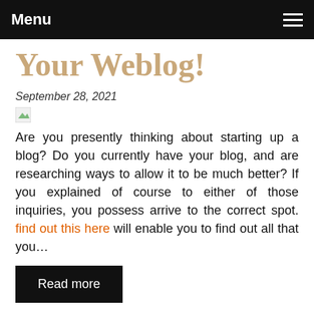Menu
Your Weblog!
September 28, 2021
Are you presently thinking about starting up a blog? Do you currently have your blog, and are researching ways to allow it to be much better? If you explained of course to either of those inquiries, you possess arrive to the correct spot. find out this here will enable you to find out all that you…
Read more
0 comments  Posted in General  Tags blog